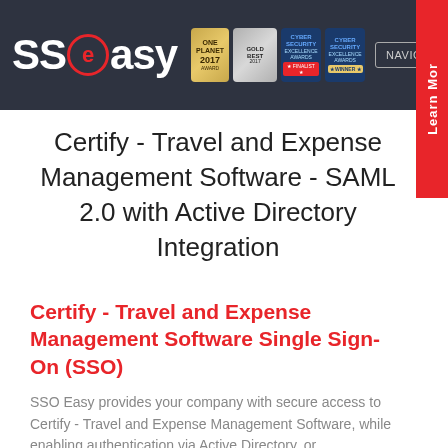SSOeasy — NAVIGATION | Learn More
Certify - Travel and Expense Management Software - SAML 2.0 with Active Directory Integration
Certify - Travel and Expense Management Software Single Sign-On (SSO)
SSO Easy provides your company with secure access to Certify - Travel and Expense Management Software, while enabling authentication via Active Directory, or